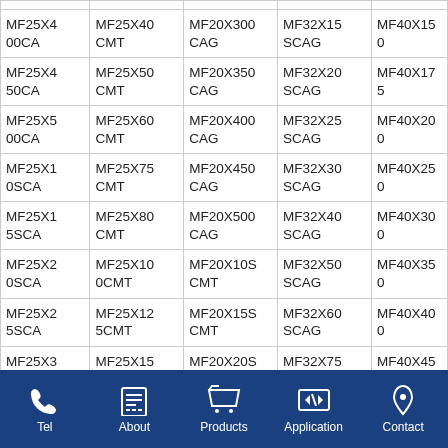| Col1 | Col2 | Col3 | Col4 | Col5 |
| --- | --- | --- | --- | --- |
| MF25X400CA | MF25X40CMT | MF20X300CAG | MF32X15SCAG | MF40X150... |
| MF25X450CA | MF25X50CMT | MF20X350CAG | MF32X20SCAG | MF40X175... |
| MF25X500CA | MF25X60CMT | MF20X400CAG | MF32X25SCAG | MF40X200... |
| MF25X10SCA | MF25X75CMT | MF20X450CAG | MF32X30SCAG | MF40X250... |
| MF25X15SCA | MF25X80CMT | MF20X500CAG | MF32X40SCAG | MF40X300... |
| MF25X20SCA | MF25X100CMT | MF20X10SCMT | MF32X50SCAG | MF40X350... |
| MF25X25SCA | MF25X125CMT | MF20X15SCMT | MF32X60SCAG | MF40X400... |
| MF25X30SCA | MF25X150CMT | MF20X20SCMT | MF32X75SCAG | MF40X450... |
| ... | ... | ... | ... | ... |
Tel | About | Products | Application | Contact